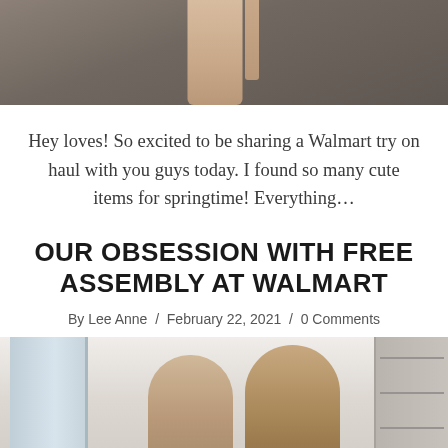[Figure (photo): Cropped photo showing lower legs of a person standing on a gray wood-look floor, wearing heeled sandals.]
Hey loves! So excited to be sharing a Walmart try on haul with you guys today. I found so many cute items for springtime! Everything…
OUR OBSESSION WITH FREE ASSEMBLY AT WALMART
By Lee Anne  /  February 22, 2021  /  0 Comments
[Figure (photo): Photo of a couple — a woman with long hair and a man with long hair — in a bright white room interior.]